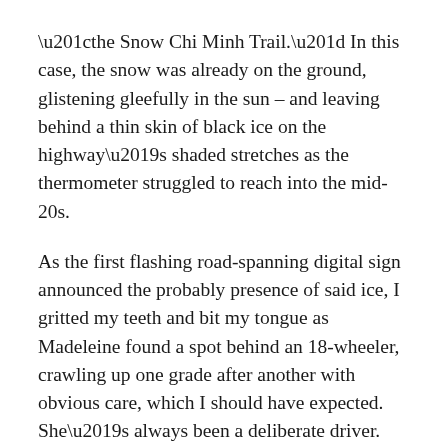“the Snow Chi Minh Trail.” In this case, the snow was already on the ground, glistening gleefully in the sun – and leaving behind a thin skin of black ice on the highway’s shaded stretches as the thermometer struggled to reach into the mid-20s.
As the first flashing road-spanning digital sign announced the probably presence of said ice, I gritted my teeth and bit my tongue as Madeleine found a spot behind an 18-wheeler, crawling up one grade after another with obvious care, which I should have expected. She’s always been a deliberate driver.
Still, I couldn’t resist bleating the words “slow down” a few times, which she was already doing. I also instructed her to shift down into “sport” mode for a lower gear, especially on the downgrade. Then came